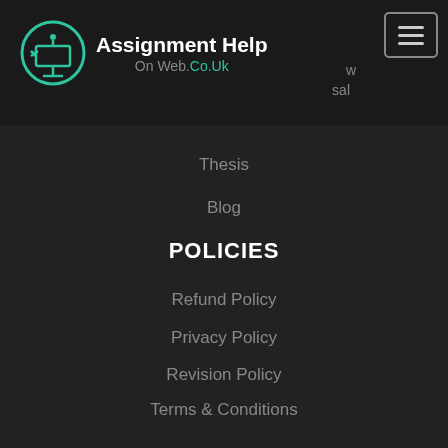Assignment Help On Web.Co.Uk
Thesis
Blog
POLICIES
Refund Policy
Privacy Policy
Revision Policy
Terms & Conditions
USEFUL LINKS
Home
About Us
Price Plan